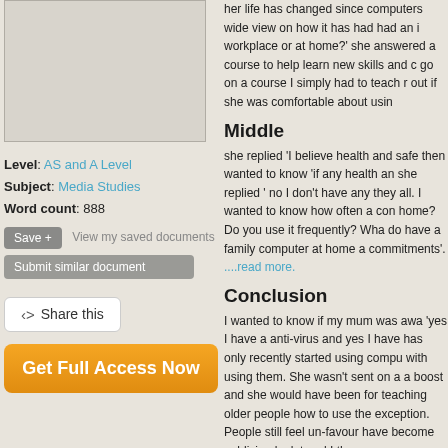[Figure (other): Thumbnail/preview image box (greyed out placeholder)]
Level: AS and A Level
Subject: Media Studies
Word count: 888
Save + View my saved documents
Submit similar document
Share this
Get Full Access Now
her life has changed since computers wide view on how it has had had an i workplace or at home?' she answered a course to help learn new skills and c go on a course I simply had to teach r out if she was comfortable about usin
Middle
she replied 'I believe health and safe then wanted to know 'if any health an she replied ' no I don't have any they all. I wanted to know how often a con home? Do you use it frequently? Wha do have a family computer at home a commitments'. ....read more.
Conclusion
I wanted to know if my mum was awa 'yes I have a anti-virus and yes I have has only recently started using compu with using them. She wasn't sent on a a boost and she would have been for teaching older people how to use the exception. People still feel un-favour have become publicized a lot and I th